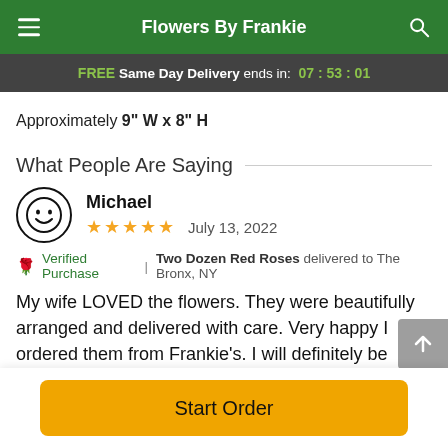Flowers By Frankie
FREE Same Day Delivery ends in: 07 : 53 : 01
Approximately 9" W x 8" H
What People Are Saying
Michael
★★★★★  July 13, 2022
Verified Purchase | Two Dozen Red Roses delivered to The Bronx, NY
My wife LOVED the flowers. They were beautifully arranged and delivered with care. Very happy I ordered them from Frankie's. I will definitely be ordering from them in the future
Start Order